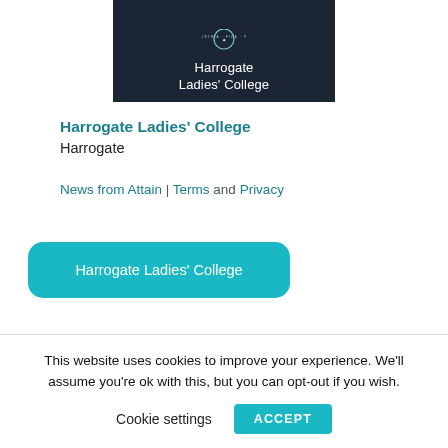[Figure (logo): Harrogate Ladies' College logo — dark navy background with circular crest and white text reading 'Harrogate Ladies' College']
Harrogate Ladies' College
Harrogate
News from Attain | Terms and Privacy
Harrogate Ladies' College
This website uses cookies to improve your experience. We'll assume you're ok with this, but you can opt-out if you wish.
Cookie settings   ACCEPT